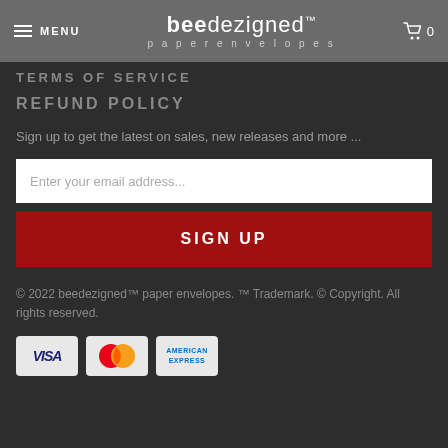MENU | beedezigned™ paperenvelopes | 0
TERMS OF SERVICE
REFUND POLICY
Sign up to get the latest on sales, new releases and more ...
Enter your email address...
SIGN UP
© 2022 beedezigned™ paper envelopes. ™ Trademark. © Copyright. All rights reserved.
[Figure (other): Payment method icons: VISA, MasterCard, American Express]